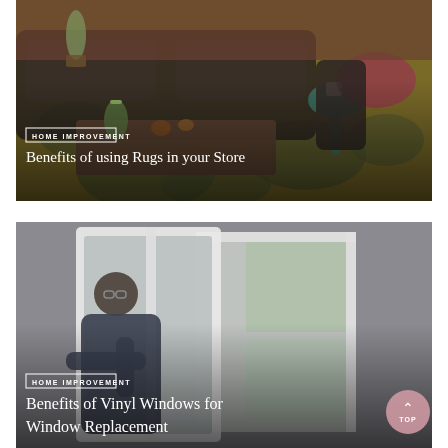[Figure (photo): A living room scene with a dark velvet sofa, decorative objects on a wooden coffee table, a small green side table, and a patterned yellow and grey floral rug. Overlaid with a 'HOME IMPROVEMENT' badge and the title 'Benefits of using Rugs in your Store'.]
[Figure (photo): A man wearing glasses holding a vinyl window frame, preparing to install it. A second window is visible in the background. Overlaid with a 'HOME IMPROVEMENT' badge and the title 'Benefits of Vinyl Windows for Window Replacement'.]